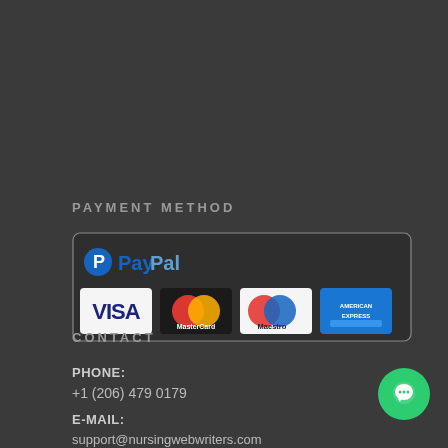PAYMENT METHOD
[Figure (logo): Payment method logos: PayPal, Visa, MasterCard, Maestro, American Express]
CONTACT
PHONE:
+1 (206) 479 0179
E-MAIL:
support@nursingwebwriters.com